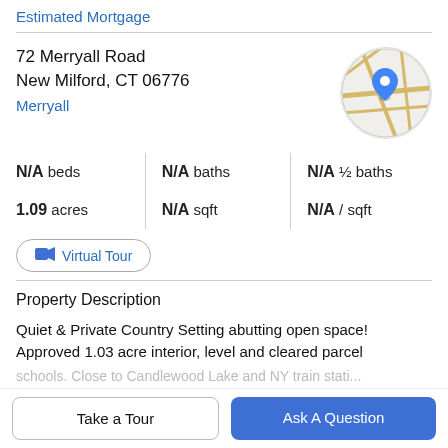Estimated Mortgage
72 Merryall Road
New Milford, CT 06776
Merryall
[Figure (map): Circular map thumbnail showing a location pin on a street map near Merryall Road, New Milford, CT.]
N/A beds   N/A baths   N/A ½ baths
1.09 acres   N/A sqft   N/A / sqft
Virtual Tour
Property Description
Quiet & Private Country Setting abutting open space! Approved 1.03 acre interior, level and cleared parcel
Take a Tour
Ask A Question